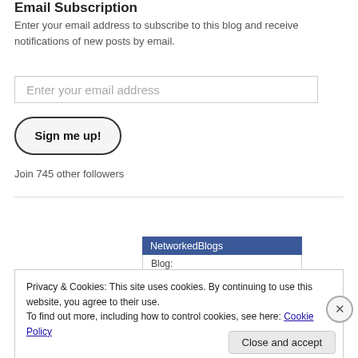Email Subscription
Enter your email address to subscribe to this blog and receive notifications of new posts by email.
Enter your email address
Sign me up!
Join 745 other followers
NetworkedBlogs
Blog:
Privacy & Cookies: This site uses cookies. By continuing to use this website, you agree to their use.
To find out more, including how to control cookies, see here: Cookie Policy
Close and accept